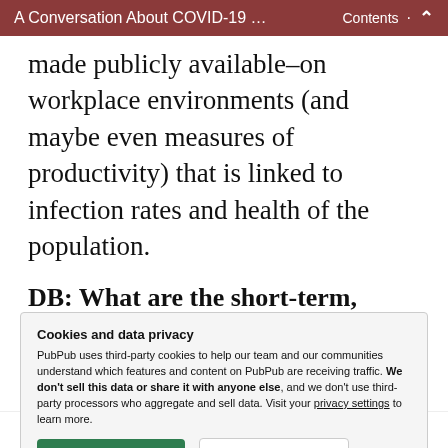A Conversation About COVID-19 …    Contents  ·  ⌃
made publicly available–on workplace environments (and maybe even measures of productivity) that is linked to infection rates and health of the population.
DB: What are the short-term,
Cookies and data privacy
PubPub uses third-party cookies to help our team and our communities understand which features and content on PubPub are receiving traffic. We don't sell this data or share it with anyone else, and we don't use third-party processors who aggregate and sell data. Visit your privacy settings to learn more.
[Accept] [Disable]
and a vaccine is at least 18 months away,